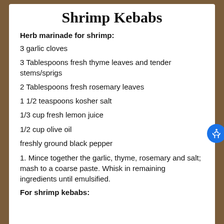Shrimp Kebabs
Herb marinade for shrimp:
3 garlic cloves
3 Tablespoons fresh thyme leaves and tender stems/sprigs
2 Tablespoons fresh rosemary leaves
1 1/2 teaspoons kosher salt
1/3 cup fresh lemon juice
1/2 cup olive oil
freshly ground black pepper
1. Mince together the garlic, thyme, rosemary and salt; mash to a coarse paste. Whisk in remaining ingredients until emulsified.
For shrimp kebabs: